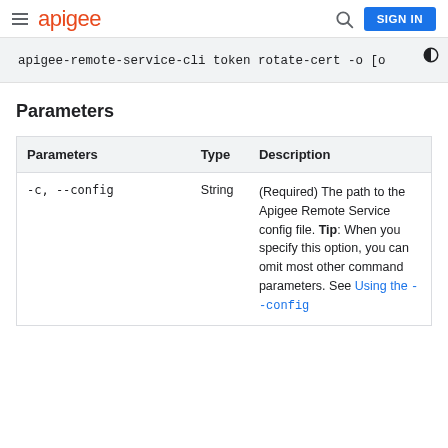apigee   SIGN IN
apigee-remote-service-cli token rotate-cert -o [o
Parameters
| Parameters | Type | Description |
| --- | --- | --- |
| -c, --config | String | (Required) The path to the Apigee Remote Service config file. Tip: When you specify this option, you can omit most other command parameters. See Using the --config |